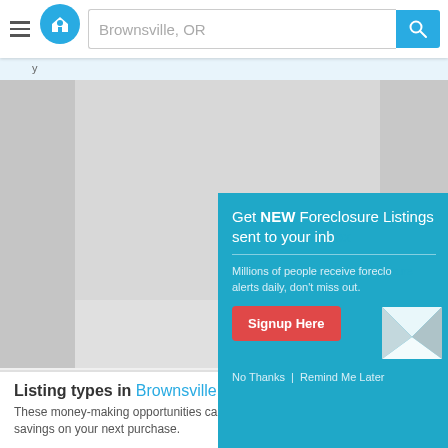Brownsville, OR
[Figure (screenshot): Map view of Brownsville, OR area showing gray map tiles]
[Figure (infographic): Popup overlay: Get NEW Foreclosure Listings sent to your inbox. Millions of people receive foreclosure alerts daily, don't miss out. Signup Here button. No Thanks | Remind Me Later]
Listing types in Brownsville, OR
These money-making opportunities can deliver huge savings on your next purchase.